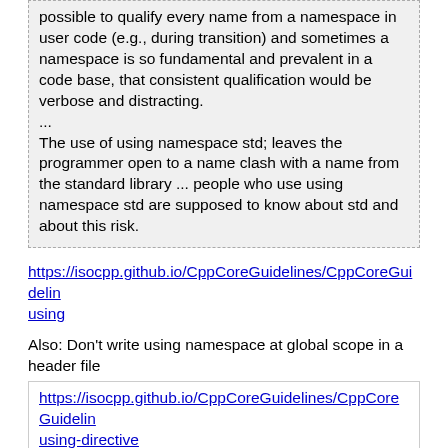possible to qualify every name from a namespace in user code (e.g., during transition) and sometimes a namespace is so fundamental and prevalent in a code base, that consistent qualification would be verbose and distracting.
...
The use of using namespace std; leaves the programmer open to a name clash with a name from the standard library ... people who use using namespace std are supposed to know about std and about this risk.
https://isocpp.github.io/CppCoreGuidelines/CppCoreGuidelines#sf7-dont-write-using-namespace-at-global-scope-in-a-header-file-sf-using
Also: Don't write using namespace at global scope in a header file
https://isocpp.github.io/CppCoreGuidelines/CppCoreGuidelines#sf7-dont-write-using-namespace-at-global-scope-in-a-header-file-sf-using-directive
keskiverto (10165)   Jul 25, 2021 at 5:06pm